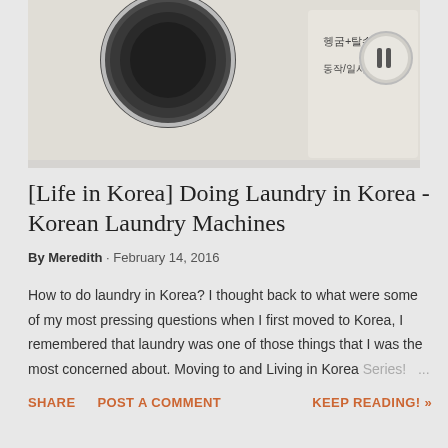[Figure (photo): Close-up photo of a Korean washing machine panel showing Korean text labels including '헹굼+탈수' and '동작/일시정지' with a play/pause button]
[Life in Korea] Doing Laundry in Korea - Korean Laundry Machines
By Meredith · February 14, 2016
How to do laundry in Korea? I thought back to what were some of my most pressing questions when I first moved to Korea, I remembered that laundry was one of those things that I was the most concerned about. Moving to and Living in Korea Series! ...
SHARE   POST A COMMENT   KEEP READING! »